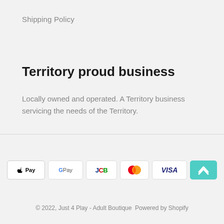Shipping Policy
Territory proud business
Locally owned and operated. A Territory business servicing the needs of the Territory.
[Figure (other): Payment method icons: Apple Pay, Google Pay, JCB, Mastercard, Visa, Afterpay]
© 2022, Just 4 Play - Adult Boutique  Powered by Shopify